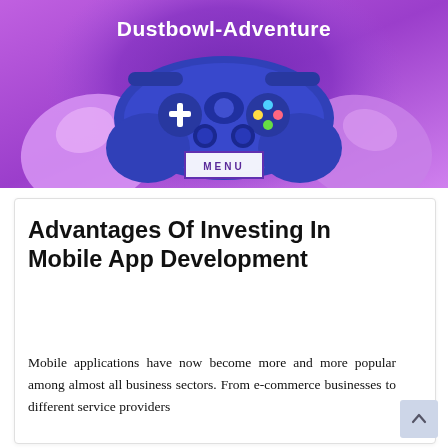[Figure (illustration): Website header banner with purple/violet gradient background, hands holding a game controller illustration, and the site title 'Dustbowl-Adventure' in bold white text. A 'MENU' button with a rectangular border is centered below the title.]
Advantages Of Investing In Mobile App Development
Mobile applications have now become more and more popular among almost all business sectors. From e-commerce businesses to different service providers